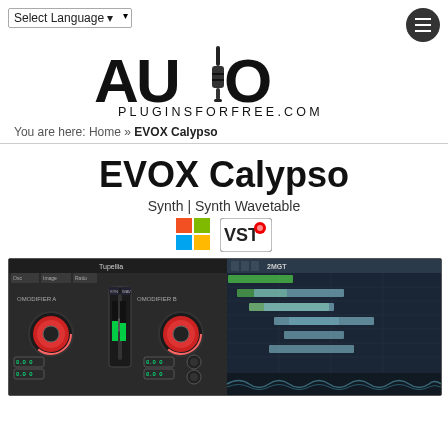Select Language
[Figure (logo): AUDIO PLUGINSFORFREE.COM logo with audio jack plug replacing the letter I in AUDIO]
You are here: Home » EVOX Calypso
EVOX Calypso
Synth | Synth Wavetable
[Figure (illustration): Windows logo badge and VST logo badge]
[Figure (screenshot): Screenshot of EVOX Calypso VST plugin interface showing mixer knobs, faders, and a DAW piano roll/sequencer view]